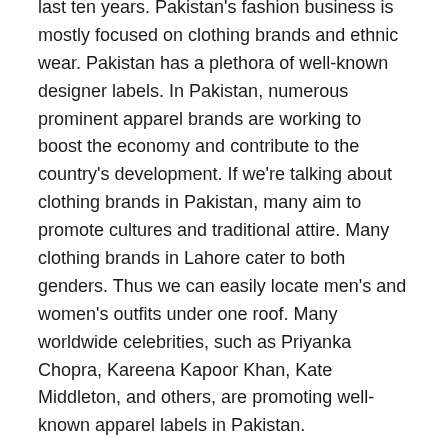last ten years. Pakistan's fashion business is mostly focused on clothing brands and ethnic wear. Pakistan has a plethora of well-known designer labels. In Pakistan, numerous prominent apparel brands are working to boost the economy and contribute to the country's development. If we're talking about clothing brands in Pakistan, many aim to promote cultures and traditional attire. Many clothing brands in Lahore cater to both genders. Thus we can easily locate men's and women's outfits under one roof. Many worldwide celebrities, such as Priyanka Chopra, Kareena Kapoor Khan, Kate Middleton, and others, are promoting well-known apparel labels in Pakistan.
In this article, we will introduce you to several Pakistani clothing brands, their specs, areas of expertise, and how they are helping to make Pakistan proud on a global scale by showcasing the country's positive aspects.